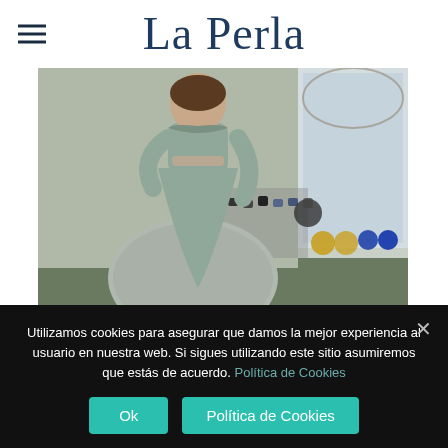La Perla
[Figure (photo): Woman in sage green athletic wear sitting on an exercise ball in a fitness centre with dumbbells in the background]
FITNESS CENTRE DAY ENTRANCE TICKETS EVERY DAY
24.00€ - 44.50€
Utilizamos cookies para asegurar que damos la mejor experiencia al usuario en nuestra web. Si sigues utilizando este sitio asumiremos que estás de acuerdo. Política de Cookies